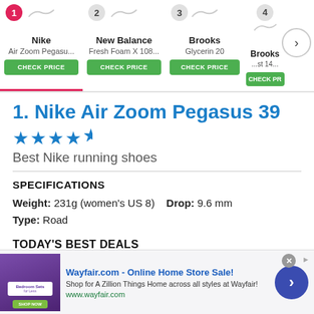[Figure (screenshot): Horizontal navigation bar showing 4 running shoe options: 1. Nike Air Zoom Pegasu..., 2. New Balance Fresh Foam X 108..., 3. Brooks Glycerin 20, 4. Brooks ...st 14... Each with a green CHECK PRICE button. Item 1 is selected (pink underline).]
1. Nike Air Zoom Pegasus 39
[Figure (other): 4.5 star rating shown as blue stars]
Best Nike running shoes
SPECIFICATIONS
Weight: 231g (women's US 8)   Drop: 9.6 mm
Type: Road
TODAY'S BEST DEALS
[Figure (screenshot): Advertisement banner for Wayfair.com - Online Home Store Sale! with text: Shop for A Zillion Things Home across all styles at Wayfair! www.wayfair.com]